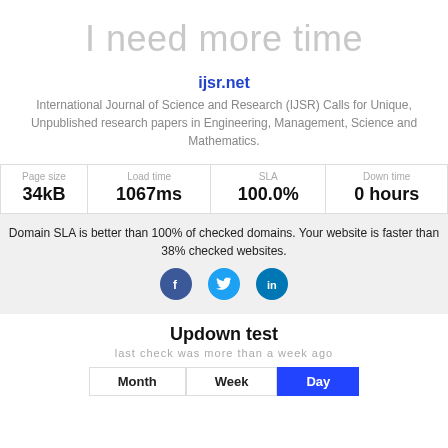I need more time
ijsr.net
International Journal of Science and Research (IJSR) Calls for Unique, Unpublished research papers in Engineering, Management, Science and Mathematics.
| Page size | Load time | SLA | Down time |
| --- | --- | --- | --- |
| 34kB | 1067ms | 100.0% | 0 hours |
Domain SLA is better than 100% of checked domains. Your website is faster than 38% checked websites.
[Figure (other): Social media share buttons: Facebook, Twitter, LinkedIn]
Updown test
last check was more than a week ago
Month | Week | Day (tabs)